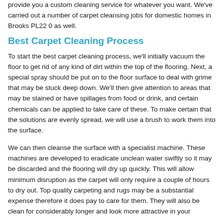provide you a custom cleaning service for whatever you want. We've carried out a number of carpet cleansing jobs for domestic homes in Brooks PL22 0 as well.
Best Carpet Cleaning Process
To start the best carpet cleaning process, we'll initially vacuum the floor to get rid of any kind of dirt within the top of the flooring. Next, a special spray should be put on to the floor surface to deal with grime that may be stuck deep down. We'll then give attention to areas that may be stained or have spillages from food or drink, and certain chemicals can be applied to take care of these. To make certain that the solutions are evenly spread, we will use a brush to work them into the surface.
We can then cleanse the surface with a specialist machine. These machines are developed to eradicate unclean water swiftly so it may be discarded and the flooring will dry up quickly. This will allow minimum disruption as the carpet will only require a couple of hours to dry out. Top quality carpeting and rugs may be a substantial expense therefore it does pay to care for them. They will also be clean for considerably longer and look more attractive in your